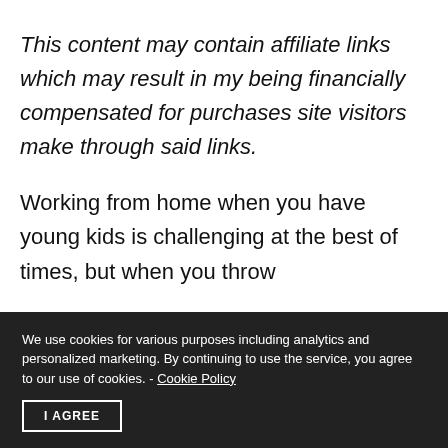This content may contain affiliate links which may result in my being financially compensated for purchases site visitors make through said links.
Working from home when you have young kids is challenging at the best of times, but when you throw
We use cookies for various purposes including analytics and personalized marketing. By continuing to use the service, you agree to our use of cookies. - Cookie Policy
I AGREE